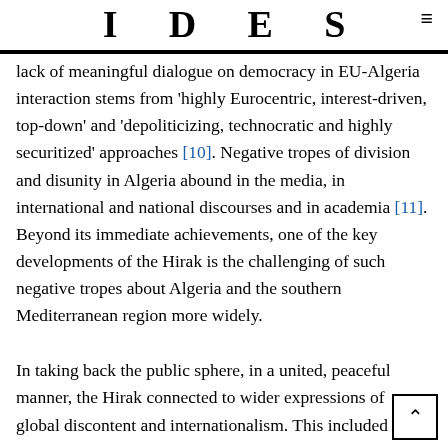IDEAS
lack of meaningful dialogue on democracy in EU-Algeria interaction stems from ‘highly Eurocentric, interest-driven, top-down’ and ‘depoliticizing, technocratic and highly securitized’ approaches [10]. Negative tropes of division and disunity in Algeria abound in the media, in international and national discourses and in academia [11]. Beyond its immediate achievements, one of the key developments of the Hirak is the challenging of such negative tropes about Algeria and the southern Mediterranean region more widely.
In taking back the public sphere, in a united, peaceful manner, the Hirak connected to wider expressions of global discontent and internationalism. This included